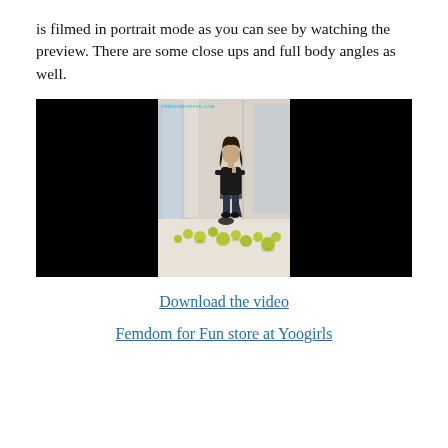is filmed in portrait mode as you can see by watching the preview. There are some close ups and full body angles as well.
[Figure (photo): Video preview thumbnail showing a person seated on a chair in a bright room with grapes on the floor, flanked by black bars on either side (letterboxed portrait video).]
Download the video
Femdom for Fun store at Yoogirls